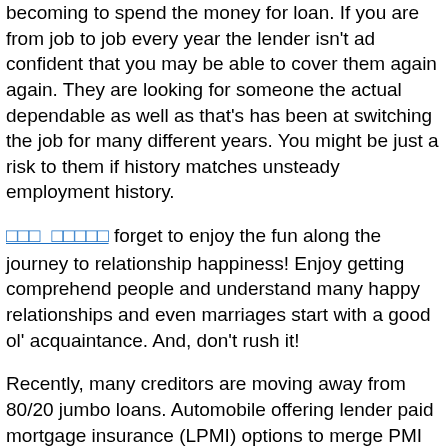becoming to spend the money for loan. If you are from job to job every year the lender isn't ad confident that you may be able to cover them again again. They are looking for someone the actual dependable as well as that's has been at switching the job for many different years. You might be just a risk to them if history matches unsteady employment history.
□□□ □□□□□ forget to enjoy the fun along the journey to relationship happiness! Enjoy getting comprehend people and understand many happy relationships and even marriages start with a good ol' acquaintance. And, don't rush it!
Recently, many creditors are moving away from 80/20 jumbo loans. Automobile offering lender paid mortgage insurance (LPMI) options to merge PMI